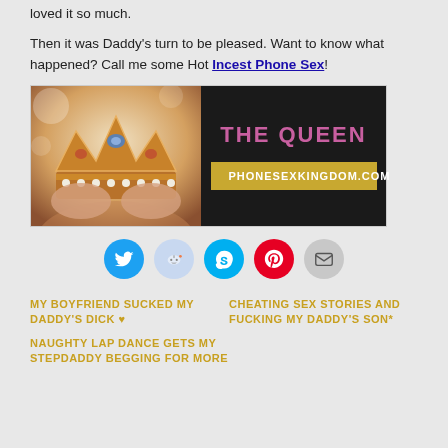loved it so much.
Then it was Daddy's turn to be pleased. Want to know what happened? Call me some Hot Incest Phone Sex!
[Figure (illustration): Banner advertisement showing a crown image on the left and 'THE QUEEN' text with PHONESEXKINGDOM.COM on a dark background on the right]
[Figure (infographic): Row of social sharing buttons: Twitter (blue), Reddit (light blue), Skype (blue), Pinterest (red), Email (grey)]
MY BOYFRIEND SUCKED MY DADDY'S DICK ♥
CHEATING SEX STORIES AND FUCKING MY DADDY'S SON*
NAUGHTY LAP DANCE GETS MY STEPDADDY BEGGING FOR MORE